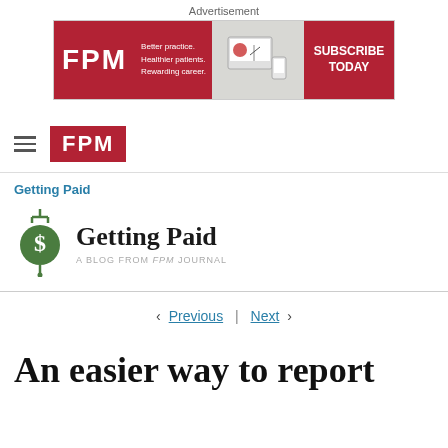Advertisement
[Figure (screenshot): FPM journal advertisement banner with red background, FPM logo, taglines 'Better practice. Healthier patients. Rewarding career.' and 'SUBSCRIBE TODAY' button]
[Figure (logo): FPM journal navigation logo with hamburger menu icon and red FPM block logo]
Getting Paid
[Figure (logo): Getting Paid blog header with green dollar sign icon and title 'Getting Paid' and subtitle 'A BLOG FROM FPM JOURNAL']
< Previous | Next >
An easier way to report